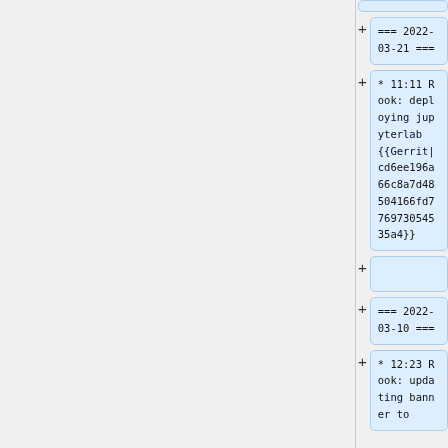=== 2022-03-21 ===
* 11:11 Rook: deploying jupyterlab {{Gerrit|cd6ee196a66c8a7d48504166fd776973054535a4}}
=== 2022-03-10 ===
* 12:23 Rook: updating banner to